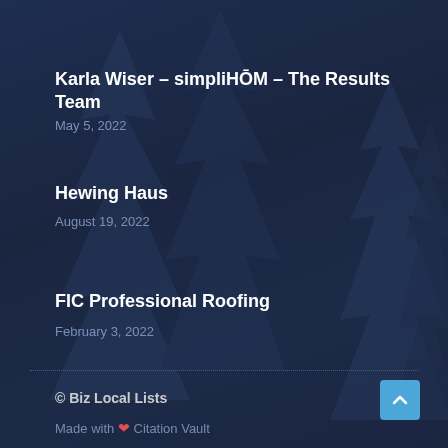Karla Wiser – simpliHŌM – The Results Team
May 5, 2022
Hewing Haus
August 19, 2022
FIC Professional Roofing
February 3, 2022
© Biz Local Lists
Made with ❤ Citation Vault